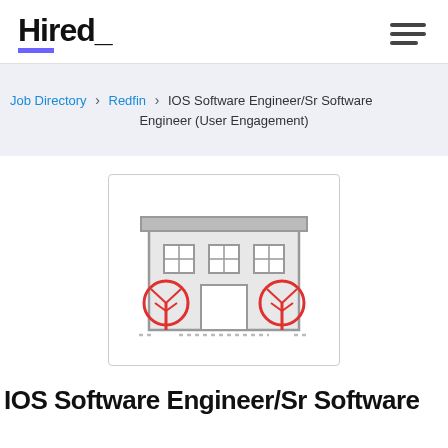Hired_
Job Directory > Redfin > IOS Software Engineer/Sr Software Engineer (User Engagement)
[Figure (illustration): Illustration of a building/office with two red tree icons in front, representing a company location]
IOS Software Engineer/Sr Software